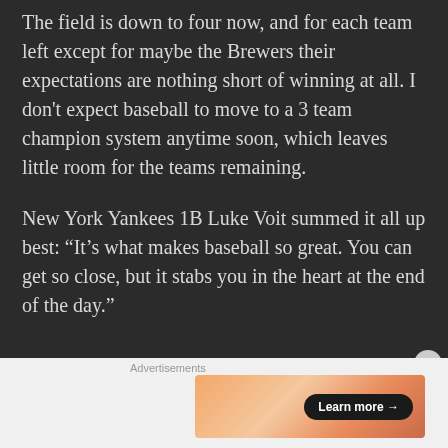The field is down to four now, and for each team left except for maybe the Brewers their expectations are nothing short of winning at all. I don't expect baseball to move to a 3 team champion system anytime soon, which leaves little room for the teams remaining.
New York Yankees 1B Luke Voit summed it all up best: “It’s what makes baseball so great. You can get so close, but it stabs you in the heart at the end of the day.”
Advertisements